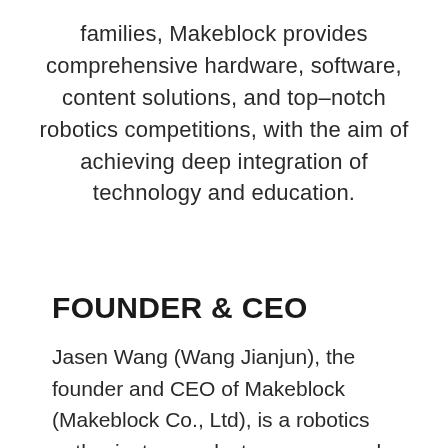families, Makeblock provides comprehensive hardware, software, content solutions, and top-notch robotics competitions, with the aim of achieving deep integration of technology and education.
FOUNDER & CEO
Jasen Wang (Wang Jianjun), the founder and CEO of Makeblock (Makeblock Co., Ltd), is a robotics enthusiast, a product manager, and a hardware maker. He has been on a...